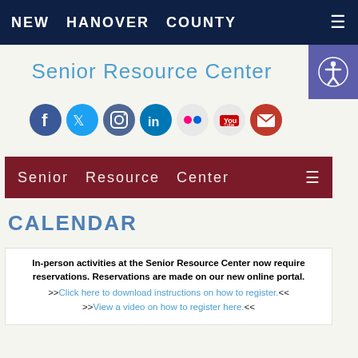NEW HANOVER COUNTY
Senior Resource Center
[Figure (illustration): Row of social media icons: Facebook, Twitter, Instagram, LinkedIn, Flickr, YouTube, Email/Newsletter]
Senior Resource Center
CALENDAR
In-person activities at the Senior Resource Center now require reservations. Reservations are made on our new online portal.
>>Click here to download instructions on how to register.<<
>>View a video on how to register here.<<